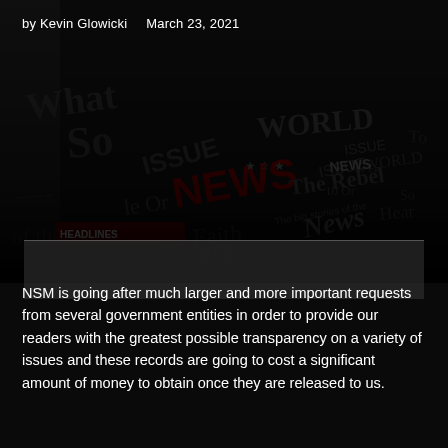by Kevin Glowicki   March 23, 2021
[Figure (photo): Dark newspaper collage background image with overlapping newspaper headlines and text in black, white and red, partially obscured. Words visible include NEWS, WORLD, The Rebel, Faith, 'the big stories of the'.]
NSM is going after much larger and more important requests from several government entities in order to provide our readers with the greatest possible transparency on a variety of issues and these records are going to cost a significant amount of money to obtain once they are released to us.